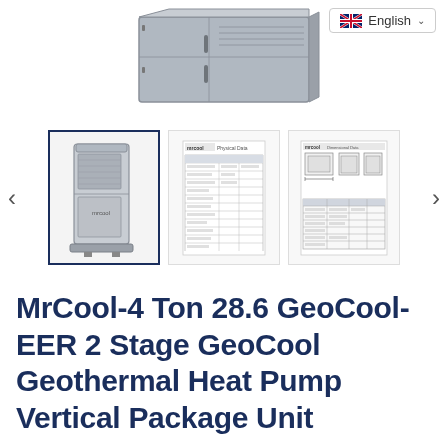[Figure (photo): Top-down/isometric view of a large grey HVAC/geothermal heat pump unit housing, metallic grey cabinet with panel doors and louvres]
[Figure (screenshot): Language selector dropdown showing UK flag and 'English' with chevron, positioned top right]
[Figure (photo): Thumbnail 1 (selected, highlighted border): Vertical grey geothermal heat pump unit]
[Figure (table-as-image): Thumbnail 2: Technical data/specifications sheet document thumbnail]
[Figure (engineering-diagram): Thumbnail 3: Engineering dimensional diagram with top/side/front views and dimension table]
MrCool-4 Ton 28.6 GeoCool-EER 2 Stage GeoCool Geothermal Heat Pump Vertical Package Unit